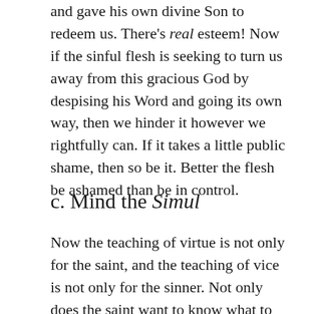and gave his own divine Son to redeem us. There's real esteem! Now if the sinful flesh is seeking to turn us away from this gracious God by despising his Word and going its own way, then we hinder it however we rightfully can. If it takes a little public shame, then so be it. Better the flesh be ashamed than be in control.
c. Mind the Simul
Now the teaching of virtue is not only for the saint, and the teaching of vice is not only for the sinner. Not only does the saint want to know what to do to be doing the will of God, but also what to avoid so that he does not grieve his Father. Not only is the